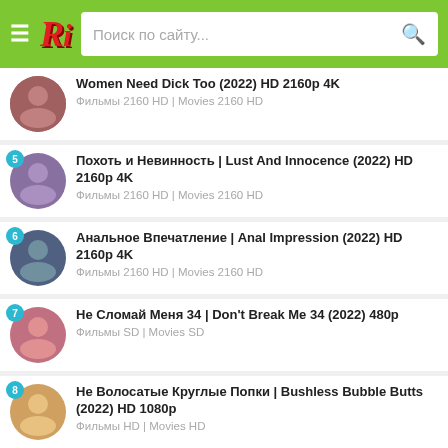Ri | Поиск по сайту...
Women Need Dick Too (2022) HD 2160p 4K
Фильмы 2160 HD | Movies 2160 HD
5 Похоть и Невинность | Lust And Innocence (2022) HD 2160p 4K
Фильмы 2160 HD | Movies 2160 HD
6 Анальное Впечатление | Anal Impression (2022) HD 2160p 4K
Фильмы 2160 HD | Movies 2160 HD
7 Не Сломай Меня 34 | Don't Break Me 34 (2022) 480p
Фильмы SD | Movies SD
8 Не Волосатые Круглые Попки | Bushless Bubble Butts (2022) HD 1080p
Фильмы HD | Movies HD
9 Сисястые Пумы По Соседству | Busty Cougars Next Door (2022) HD 2160p 4K
Фильмы 2160 HD | Movies 2160 HD